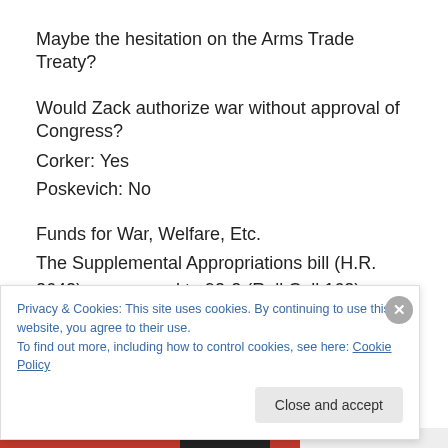Maybe the hesitation on the Arms Trade Treaty?
Would Zack authorize war without approval of Congress?
Corker: Yes
Poskevich: No
Funds for War, Welfare, Etc.
The Supplemental Appropriations bill (H.R. 2642) was agreed to 92-2 (Roll Call 162) on June 26, 2008. Such bills fund unforeseen needs after an annual budget has been
Privacy & Cookies: This site uses cookies. By continuing to use this website, you agree to their use.
To find out more, including how to control cookies, see here: Cookie Policy